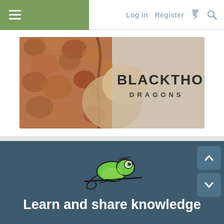≡   Log in   Register   ⚡   🔍
[Figure (logo): Blackthorn Dragons banner with bearded dragon close-up photo and text BLACKTHORN DRAGONS]
[Figure (illustration): Cartoon green chameleon sitting on a branch]
Learn and share knowledge about the reptile world